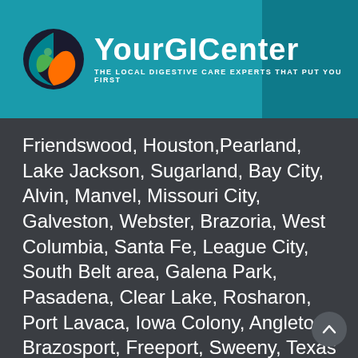[Figure (logo): YourGICenter logo with circular yin-yang style icon in green, blue and orange, and text 'YourGICenter – The Local Digestive Care Experts That Put You First' on a teal background]
Friendswood, Houston,Pearland, Lake Jackson, Sugarland, Bay City, Alvin, Manvel, Missouri City, Galveston, Webster, Brazoria, West Columbia, Santa Fe, League City, South Belt area, Galena Park, Pasadena, Clear Lake, Rosharon, Port Lavaca, Iowa Colony, Angleton, Brazosport, Freeport, Sweeny, Texas City, Clute, El Campo, Richwood, Matagorda, Van Vleck, Air Port Road area, Galveston, Webster, Dickinson, Memorial Hermann South East  hospital area, South East Houston, Deer Park, See a map of our